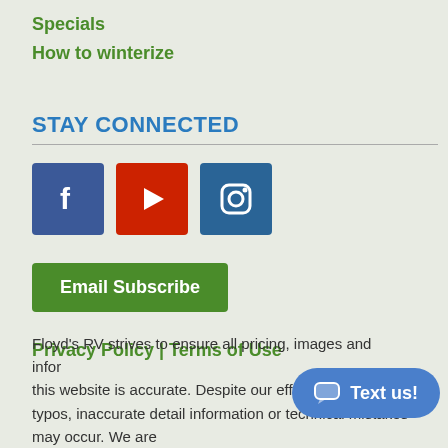Specials
How to winterize
STAY CONNECTED
[Figure (infographic): Three social media icons: Facebook (blue square with 'f'), YouTube (red square with play button), Instagram (blue-grey square with camera icon)]
Email Subscribe
Privacy Policy | Terms of Use
Floyd's RV strives to ensure all pricing, images and information on this website is accurate. Despite our efforts, occasionally typos, inaccurate detail information or technical mistakes may occur. We are